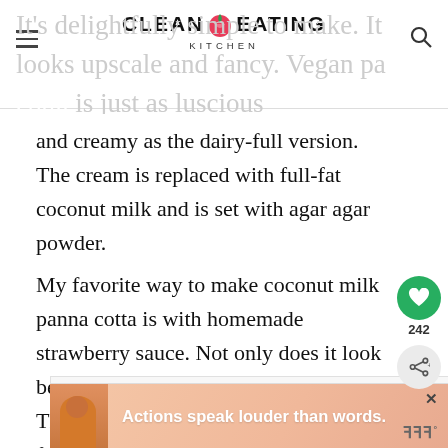CLEAN EATING KITCHEN
It's delightfully simple to make. It looks upscale and fancy. Vegan panna cotta is just as luscious and creamy as the dairy-full version. The cream is replaced with full-fat coconut milk and is set with agar agar powder.
My favorite way to make coconut milk panna cotta is with homemade strawberry sauce. Not only does it look beautiful, but it's sweet and tasty too! This vegan panna cotta recipe is dairy-free, gluten-free, vegan, and entirely plant-based.
CONTENTS
[Figure (screenshot): Advertisement banner: 'Actions speak louder than words.']